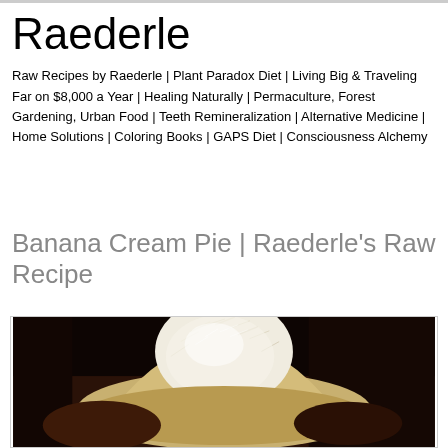Raederle
Raw Recipes by Raederle | Plant Paradox Diet | Living Big & Traveling Far on $8,000 a Year | Healing Naturally | Permaculture, Forest Gardening, Urban Food | Teeth Remineralization | Alternative Medicine | Home Solutions | Coloring Books | GAPS Diet | Consciousness Alchemy
Banana Cream Pie | Raederle's Raw Recipe
[Figure (photo): A photo of a banana cream pie with shredded coconut on top, against a dark background, inside a bordered container.]